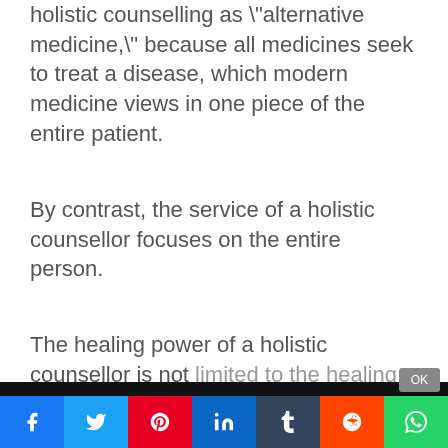holistic counselling as "alternative medicine," because all medicines seek to treat a disease, which modern medicine views in one piece of the entire patient.
By contrast, the service of a holistic counsellor focuses on the entire person.
The healing power of a holistic counsellor is not limited to the healing of physical ailments...
We use cookies to ensure that we give you the best experience on our website. If you continue to use this site we will assume that you are happy with it.